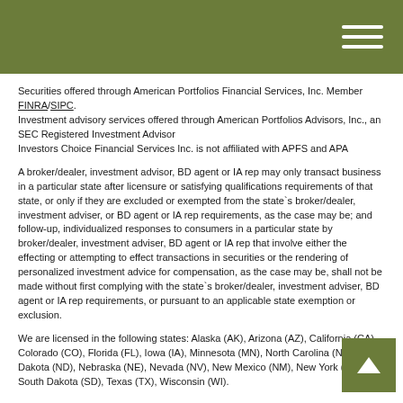Navigation header with hamburger menu icon
Securities offered through American Portfolios Financial Services, Inc. Member FINRA/SIPC.
Investment advisory services offered through American Portfolios Advisors, Inc., an SEC Registered Investment Advisor
Investors Choice Financial Services Inc. is not affiliated with APFS and APA
A broker/dealer, investment advisor, BD agent or IA rep may only transact business in a particular state after licensure or satisfying qualifications requirements of that state, or only if they are excluded or exempted from the state`s broker/dealer, investment adviser, or BD agent or IA rep requirements, as the case may be; and follow-up, individualized responses to consumers in a particular state by broker/dealer, investment adviser, BD agent or IA rep that involve either the effecting or attempting to effect transactions in securities or the rendering of personalized investment advice for compensation, as the case may be, shall not be made without first complying with the state`s broker/dealer, investment adviser, BD agent or IA rep requirements, or pursuant to an applicable state exemption or exclusion.
We are licensed in the following states: Alaska (AK), Arizona (AZ), California (CA), Colorado (CO), Florida (FL), Iowa (IA), Minnesota (MN), North Carolina (NC), North Dakota (ND), Nebraska (NE), Nevada (NV), New Mexico (NM), New York (N... (OH), South Dakota (SD), Texas (TX), Wisconsin (WI).